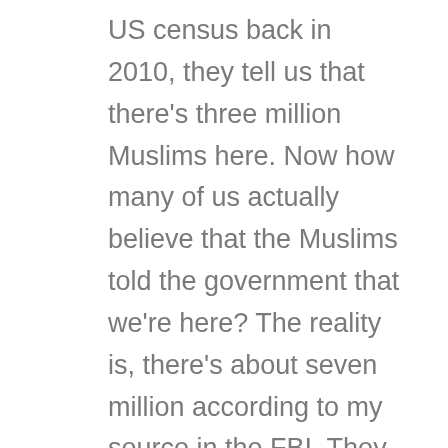US census back in 2010, they tell us that there's three million Muslims here. Now how many of us actually believe that the Muslims told the government that we're here? The reality is, there's about seven million according to my source in the FBI. They work on a number of about seven million Muslims here. Now Canada says about three million up there so about 10 million in North America. In Europe, 45 million Muslims in Europe. There's an interesting trend, they are fleeing the Middle East, they're fleeing African nations, probably because there's not much prosperity, partly because Islam's despotic, and the Islamic world is experiencing what's called solophism, which basically means revival or returning back to the foundations. It's a foundation returning movement there.